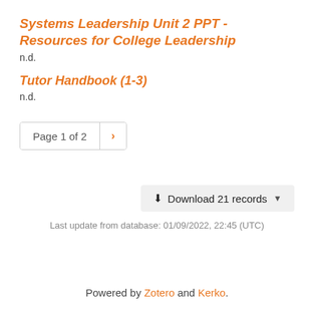Systems Leadership Unit 2 PPT - Resources for College Leadership
n.d.
Tutor Handbook (1-3)
n.d.
Page 1 of 2  >
Download 21 records
Last update from database: 01/09/2022, 22:45 (UTC)
Powered by Zotero and Kerko.